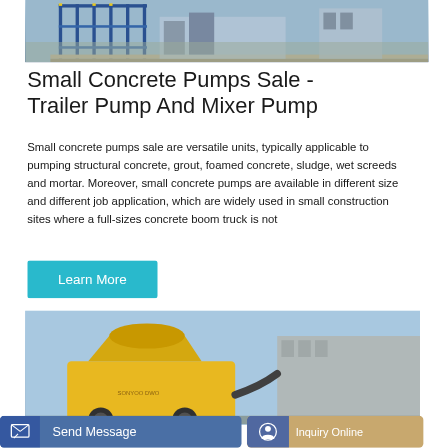[Figure (photo): Industrial concrete pumping facility with blue metal scaffolding structure and equipment against a grey/overcast sky]
Small Concrete Pumps Sale - Trailer Pump And Mixer Pump
Small concrete pumps sale are versatile units, typically applicable to pumping structural concrete, grout, foamed concrete, sludge, wet screeds and mortar. Moreover, small concrete pumps are available in different size and different job application, which are widely used in small construction sites where a full-sizes concrete boom truck is not
Learn More
[Figure (photo): Yellow concrete mixer pump machine against a sky background with industrial buildings]
Send Message
Inquiry Online